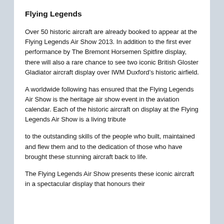Flying Legends
Over 50 historic aircraft are already booked to appear at the Flying Legends Air Show 2013. In addition to the first ever performance by The Bremont Horsemen Spitfire display, there will also a rare chance to see two iconic British Gloster Gladiator aircraft display over IWM Duxford’s historic airfield.
A worldwide following has ensured that the Flying Legends Air Show is the heritage air show event in the aviation calendar. Each of the historic aircraft on display at the Flying Legends Air Show is a living tribute
to the outstanding skills of the people who built, maintained and flew them and to the dedication of those who have brought these stunning aircraft back to life.
The Flying Legends Air Show presents these iconic aircraft in a spectacular display that honours their